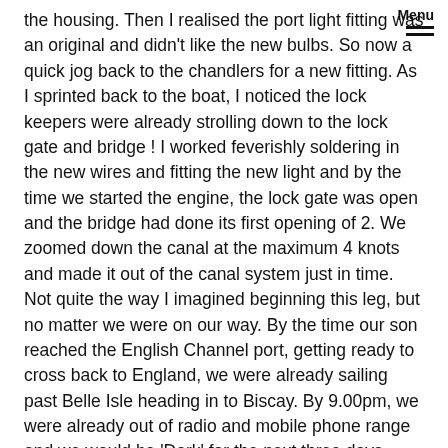Menu
the housing. Then I realised the port light fitting was an original and didn't like the new bulbs. So now a quick jog back to the chandlers for a new fitting. As I sprinted back to the boat, I noticed the lock keepers were already strolling down to the lock gate and bridge ! I worked feverishly soldering in the new wires and fitting the new light and by the time we started the engine, the lock gate was open and the bridge had done its first opening of 2. We zoomed down the canal at the maximum 4 knots and made it out of the canal system just in time. Not quite the way I imagined beginning this leg, but no matter we were on our way. By the time our son reached the English Channel port, getting ready to cross back to England, we were already sailing past Belle Isle heading in to Biscay. By 9.00pm, we were already out of radio and mobile phone range and we would be 'Dark' for the next three days.
As we headed in to our first night, having had a lovely supper, we settled the boat down and started our watch shift. Around 10:00pm, we could hear a noise at the side of the boat. I shone the torch in to the water and saw what looked like a Dolphin, then another one and then another. We quickly